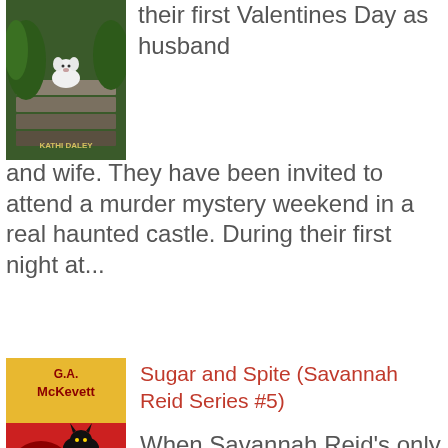[Figure (illustration): Book cover with a white fluffy dog and 'KATHI DALEY' text, shown on outdoor stone steps with greenery]
their first Valentines Day as husband and wife. They have been invited to attend a murder mystery weekend in a real haunted castle. During their first night at...
[Figure (illustration): Book cover for 'Sugar and Spite' by G.A. McKevett, Savannah Reid Mystery series #5, showing a black cat with heart-shaped candy boxes]
Sugar and Spite (Savannah Reid Series #5)
When Savannah Reid's only shot at romance for Valentine's Day includes a stakeout with her ex-partner, Dirk Coulter, things aren't exactly looking up in the hearts